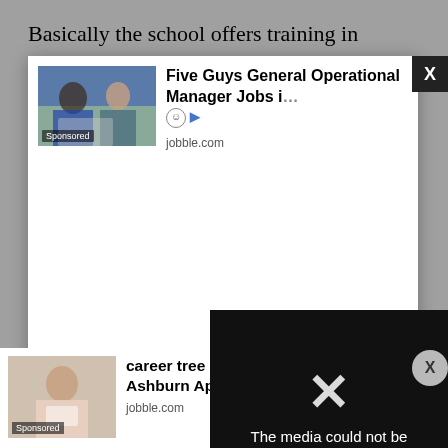Basically the school offers training in research skills and design, research methodologies in business and
[Figure (screenshot): Advertisement overlay showing 'Five Guys General Operational Manager Jobs i...' from jobble.com with a sponsored image of people working, on a white modal with X close button]
[Figure (screenshot): Video player error message: 'The media could not be loaded, either because the server or network failed or because the format is not supported.' on black background with large X icon]
Management and Mar... ...re up o...
[Figure (screenshot): Bottom advertisement showing 'career tree network Senior Care Jobs in Ashburn Apply' from jobble.com with sponsored image]